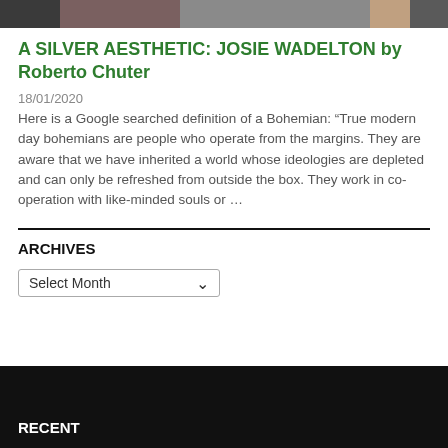[Figure (photo): Horizontal strip of photos at the top of the page showing people]
A SILVER AESTHETIC: JOSIE WADELTON by Roberto Chuter
18/01/2020
Here is a Google searched definition of a Bohemian: “True modern day bohemians are people who operate from the margins. They are aware that we have inherited a world whose ideologies are depleted and can only be refreshed from outside the box. They work in co-operation with like-minded souls or …
ARCHIVES
Select Month
RECENT